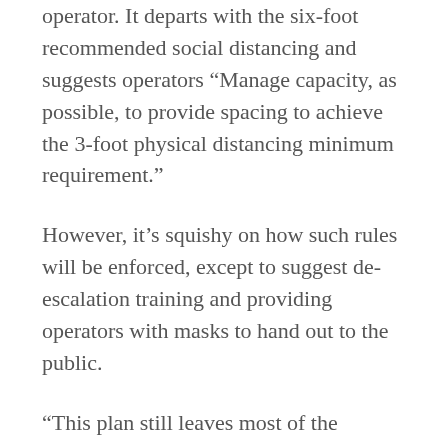operator. It departs with the six-foot recommended social distancing and suggests operators “Manage capacity, as possible, to provide spacing to achieve the 3-foot physical distancing minimum requirement.”
However, it’s squishy on how such rules will be enforced, except to suggest de-escalation training and providing operators with masks to hand out to the public.
“This plan still leaves most of the decisions up to each individual operator, which will lead to unsafe gaps and inconsistencies. It claims to ‘give transit customers consistent expectations,’ while still asking each